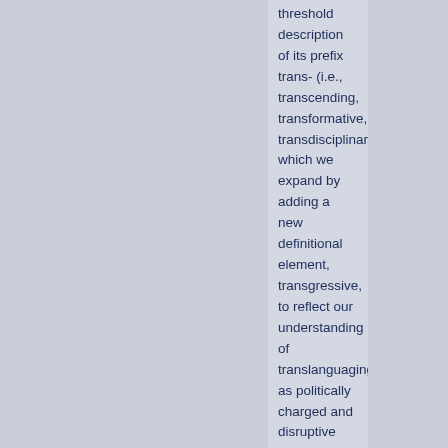threshold description of its prefix trans- (i.e., transcending, transformative, transdisciplinary), which we expand by adding a new definitional element, transgressive, to reflect our understanding of translanguaging as politically charged and disruptive